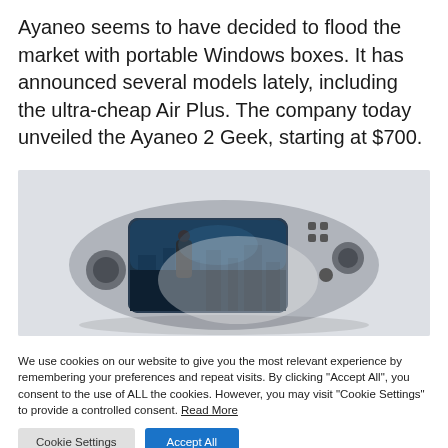Ayaneo seems to have decided to flood the market with portable Windows boxes. It has announced several models lately, including the ultra-cheap Air Plus. The company today unveiled the Ayaneo 2 Geek, starting at $700.
[Figure (photo): Photo of the Ayaneo 2 Geek handheld gaming device showing a game on screen, with joystick controls visible, on a light background.]
We use cookies on our website to give you the most relevant experience by remembering your preferences and repeat visits. By clicking "Accept All", you consent to the use of ALL the cookies. However, you may visit "Cookie Settings" to provide a controlled consent. Read More